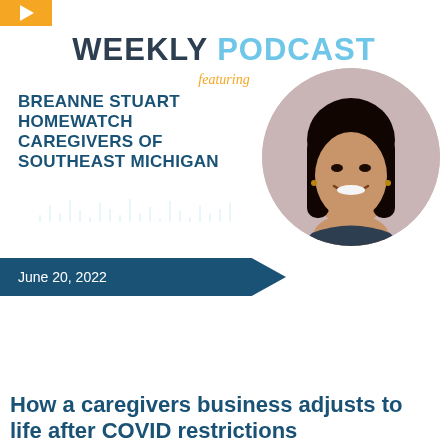[Figure (logo): Orange square logo with white play arrow]
WEEKLY PODCAST
featuring
BREANNE STUART
HOMEWATCH CAREGIVERS OF SOUTHEAST MICHIGAN
[Figure (photo): Headshot photo of Breanne Stuart, a woman with long dark hair, smiling, in a circular frame with beige/mauve background]
June 20, 2022
How a caregivers business adjusts to life after COVID restrictions